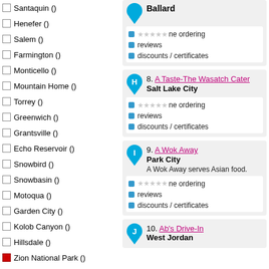Santaquin ()
Henefer ()
Salem ()
Farmington ()
Monticello ()
Mountain Home ()
Torrey ()
Greenwich ()
Grantsville ()
Echo Reservoir ()
Snowbird ()
Snowbasin ()
Motoqua ()
Garden City ()
Kolob Canyon ()
Hillsdale ()
Zion National Park ()
Parowan ()
Leeds ()
Wilson ()
Rosette ()
Wattis ()
Fort Duchesne ()
Black Rock ()
Santa Clara ()
Saratoga Springs ()
Coalville ()
Mantua Reservoir ()
South Ogden ()
Cedarview ()
Manti ()
Hovenweep National Monument ()
Ballard
online / phone ordering
reviews
discounts / certificates
8. A Taste-The Wasatch Cater
Salt Lake City
online / phone ordering
reviews
discounts / certificates
9. A Wok Away
Park City
A Wok Away serves Asian food.
online / phone ordering
reviews
discounts / certificates
10. Ab's Drive-In
West Jordan